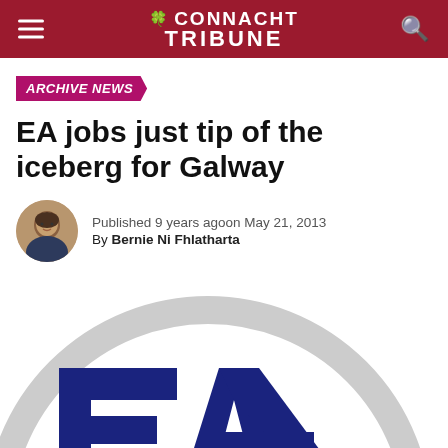Connacht Tribune
ARCHIVE NEWS
EA jobs just tip of the iceberg for Galway
Published 9 years ago on May 21, 2013 By Bernie Ni Fhlatharta
[Figure (logo): Electronic Arts (EA) logo — large stylized 'EA' letters in dark navy blue inside a grey circle outline on white background]